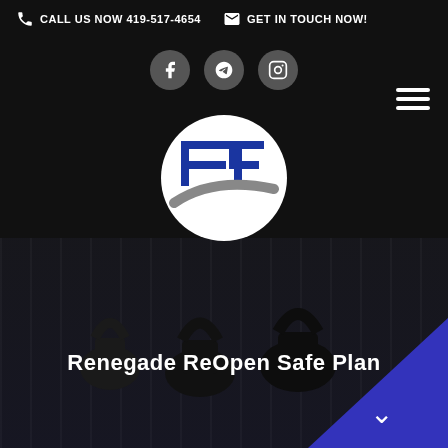CALL US NOW 419-517-4654   GET IN TOUCH NOW!
[Figure (logo): Renegade Fitness RF logo — blue and grey RF monogram inside white circle]
Renegade ReOpen Safe Plan
[Figure (photo): Gym interior with kettlebells on floor, people in background, dark moody lighting with blue triangle accent in bottom-right corner]